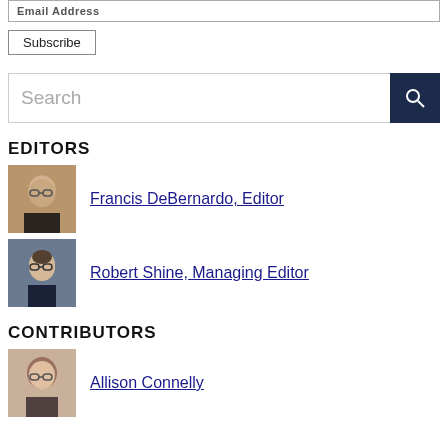Email Address
Subscribe
Search
EDITORS
[Figure (photo): Headshot of Francis DeBernardo, an older man with glasses and grey hair]
Francis DeBernardo, Editor
[Figure (photo): Headshot of Robert Shine, a young man with dark hair and glasses wearing a suit]
Robert Shine, Managing Editor
CONTRIBUTORS
[Figure (photo): Headshot of Allison Connelly, a woman with dark hair and glasses]
Allison Connelly